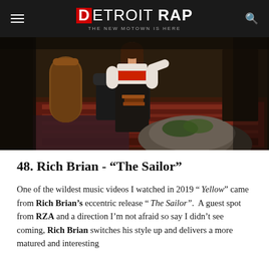DETROIT RAP — THE NEW MOTOWN IS HERE
[Figure (photo): A person sitting in a decorated room with ornate rugs, a wooden cylindrical cabinet, and dark furniture. The person wears a white top with a red sash and dark pants. A large rock or fur object is in the foreground.]
48. Rich Brian - "The Sailor"
One of the wildest music videos I watched in 2019 " Yellow" came from Rich Brian's eccentric release " The Sailor".  A guest spot from RZA and a direction I'm not afraid so say I didn't see coming, Rich Brian switches his style up and delivers a more matured and interesting effect on the essence of his music over a cleansed...